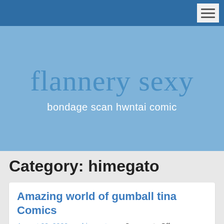Navigation bar with hamburger menu
flannery sexy
bondage scan hwntai comic
Category: himegato
Amazing world of gumball tina Comics
August 28, 2022   himegato   Comments Off   Megan